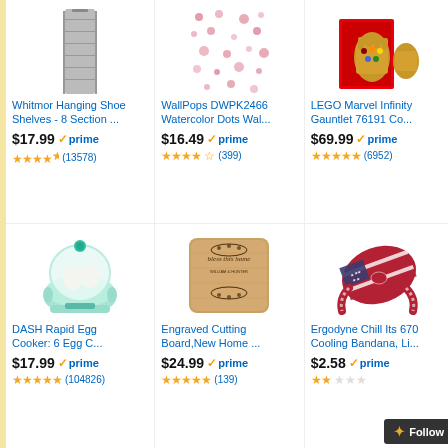[Figure (photo): Whitmor hanging shoe shelves organizer, grey fabric, 8 sections]
Whitmor Hanging Shoe Shelves - 8 Section ...
$17.99 prime (13578 reviews)
[Figure (photo): WallPops DWPK2466 Watercolor Dots wall decal pink dots pattern]
WallPops DWPK2466 Watercolor Dots Wal...
$16.49 prime (399 reviews)
[Figure (photo): LEGO Marvel Infinity Gauntlet golden glove collectible set box]
LEGO Marvel Infinity Gauntlet 76191 Co...
$69.99 prime (6952 reviews)
[Figure (photo): DASH Rapid Egg Cooker mint green round appliance with eggs inside]
DASH Rapid Egg Cooker: 6 Egg C...
$17.99 prime (104826 reviews)
[Figure (photo): Engraved wooden cutting board with bless this home inscription and floral design]
Engraved Cutting Board,New Home ...
$24.99 prime (139 reviews)
[Figure (photo): Ergodyne Chill Its 6700 cooling bandana with American flag pattern]
Ergodyne Chill Its 670 Cooling Bandana, Li...
$2.58 prime
Follow